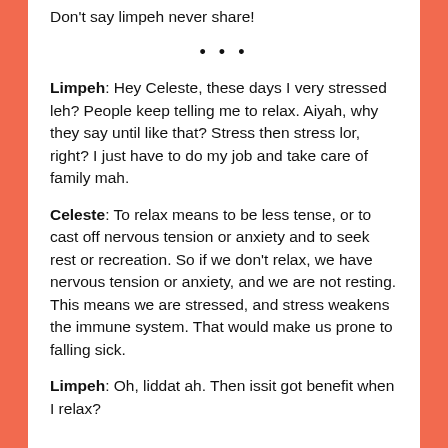Don't say limpeh never share!
• • •
Limpeh: Hey Celeste, these days I very stressed leh? People keep telling me to relax. Aiyah, why they say until like that? Stress then stress lor, right? I just have to do my job and take care of family mah.
Celeste: To relax means to be less tense, or to cast off nervous tension or anxiety and to seek rest or recreation. So if we don't relax, we have nervous tension or anxiety, and we are not resting. This means we are stressed, and stress weakens the immune system. That would make us prone to falling sick.
Limpeh: Oh, liddat ah. Then issit got benefit when I relax?